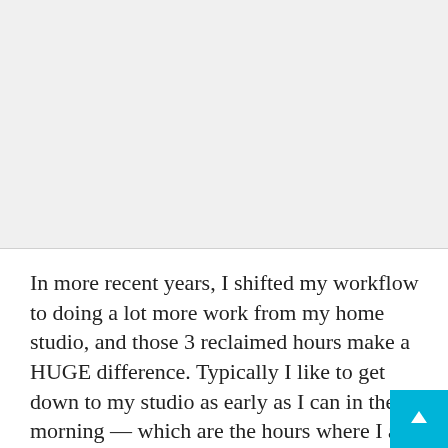[Figure (photo): A large gray placeholder image area occupying the top portion of the page.]
In more recent years, I shifted my workflow to doing a lot more work from my home studio, and those 3 reclaimed hours make a HUGE difference. Typically I like to get down to my studio as early as I can in the morning — which are the hours where I am the most clear-headed. The noise of the day hasn't started building, if you know what I mean. By the time it's 9 am and I need to start my “work for hire” day, I've already got some good work of my own done. Then there's evenings, but mostly, weekends are your friend (or your enemy depending on how you look at it). But very often, it's 2:30 on a Sunday afternoon and I see a fellow artist posting a “now playing in the studio”